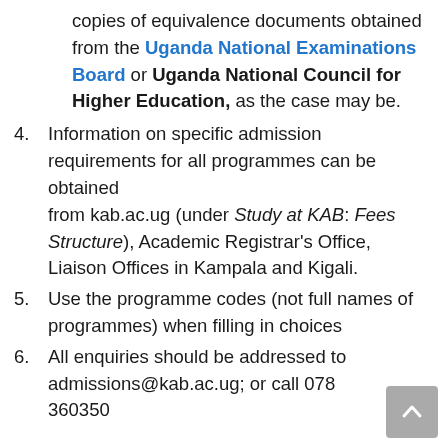copies of equivalence documents obtained from the Uganda National Examinations Board or Uganda National Council for Higher Education, as the case may be.
4. Information on specific admission requirements for all programmes can be obtained from kab.ac.ug (under Study at KAB: Fees Structure), Academic Registrar’s Office, Liaison Offices in Kampala and Kigali.
5. Use the programme codes (not full names of programmes) when filling in choices
6. All enquiries should be addressed to admissions@kab.ac.ug; or call 078 360350